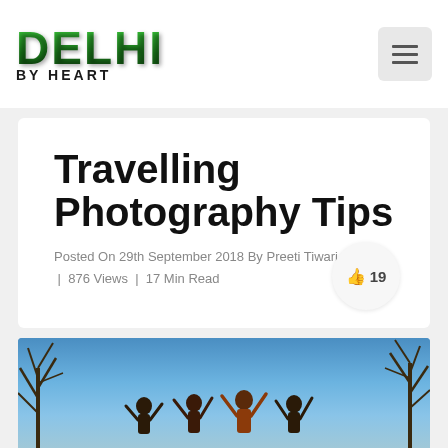[Figure (logo): Delhi By Heart logo with green stylized text]
Travelling Photography Tips
Posted On 29th September 2018 By Preeti Tiwari | 876 Views | 17 Min Read
[Figure (photo): Outdoor photo showing people with hands raised against a blue sky with trees in the background]